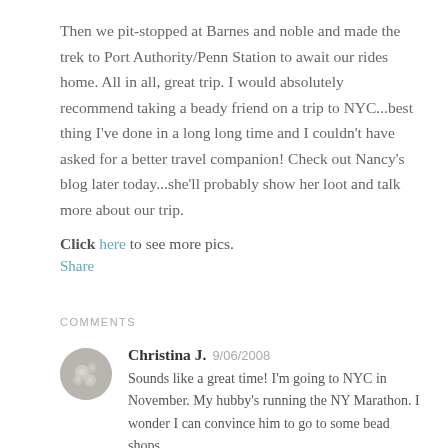Then we pit-stopped at Barnes and noble and made the trek to Port Authority/Penn Station to await our rides home. All in all, great trip. I would absolutely recommend taking a beady friend on a trip to NYC...best thing I've done in a long long time and I couldn't have asked for a better travel companion! Check out Nancy's blog later today...she'll probably show her loot and talk more about our trip. Click here to see more pics.
Share
COMMENTS
Christina J. 9/06/2008
Sounds like a great time! I'm going to NYC in November. My hubby's running the NY Marathon. I wonder I can convince him to go to some bead shops.